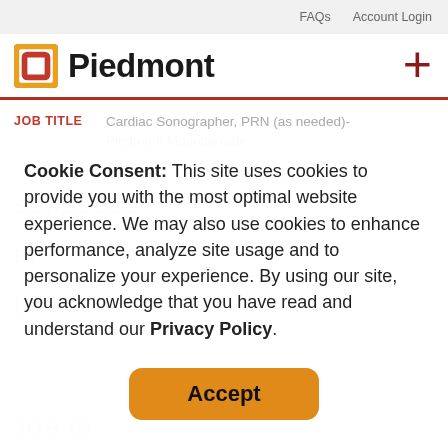FAQs   Account Login
[Figure (logo): Piedmont Healthcare logo with orange and red square bracket icon and bold text 'Piedmont', plus a dark red plus sign (+) on the right]
JOB TITLE   Cardiac Sonographer, PRN (as needed)- Piedmont Mountainside
Cookie Consent: This site uses cookies to provide you with the most optimal website experience. We may also use cookies to enhance performance, analyze site usage and to personalize your experience. By using our site, you acknowledge that you have read and understand our Privacy Policy.
Accept